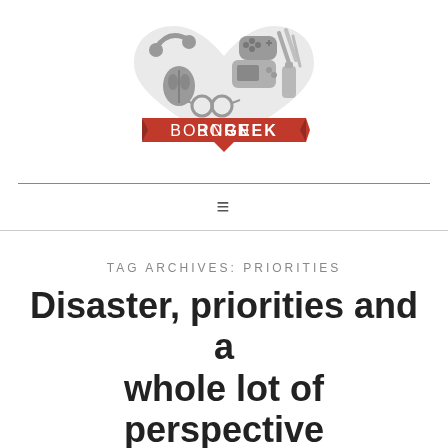[Figure (logo): BornGeek logo: a heart shape made of geek items (game controller, headphones, PSP, mouse, glasses, bottle, pencils) in gray, with a red ribbon banner across the middle reading BORNGEEK in white text]
TAG ARCHIVES: PRIORITIES
Disaster, priorities and a whole lot of perspective
June 12, 2017